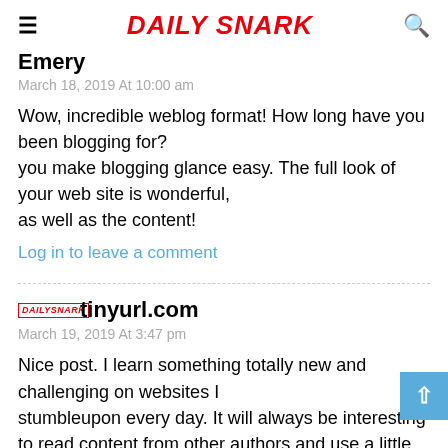Daily Snark
Emery
March 18, 2019 At 10:00 am
Wow, incredible weblog format! How long have you been blogging for?
you make blogging glance easy. The full look of your web site is wonderful,
as well as the content!
Log in to leave a comment
tinyurl.com
March 19, 2019 At 3:47 pm
Nice post. I learn something totally new and challenging on websites I
stumbleupon every day. It will always be interesting to read content from other authors and use a little something from their sites.